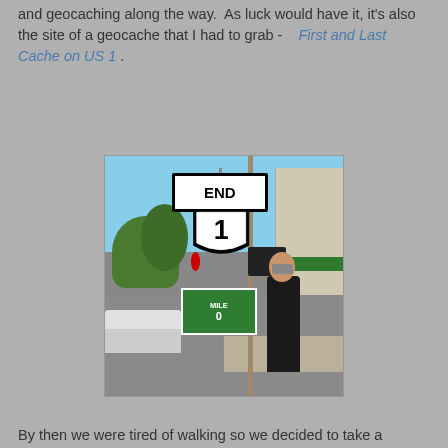and geocaching along the way.  As luck would have it, it's also the site of a geocache that I had to grab -  First and Last Cache on US 1 .
[Figure (photo): A person standing next to a pole with road signs: an END sign on top, a US Route 1 shield sign in the middle, and a MILE 0 green sign below. The scene is a sunny street corner with trees, parked cars, and buildings visible in the background.]
By then we were tired of walking so we decided to take a